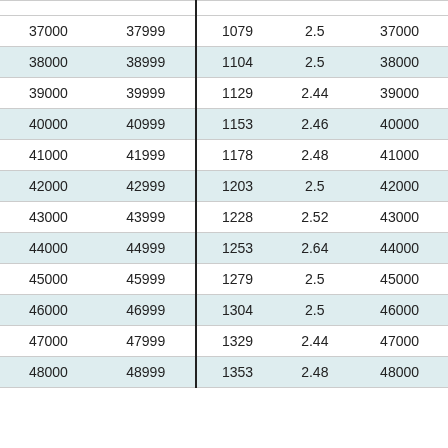| 37000 | 37999 | 1079 | 2.5 | 37000 |
| 38000 | 38999 | 1104 | 2.5 | 38000 |
| 39000 | 39999 | 1129 | 2.44 | 39000 |
| 40000 | 40999 | 1153 | 2.46 | 40000 |
| 41000 | 41999 | 1178 | 2.48 | 41000 |
| 42000 | 42999 | 1203 | 2.5 | 42000 |
| 43000 | 43999 | 1228 | 2.52 | 43000 |
| 44000 | 44999 | 1253 | 2.64 | 44000 |
| 45000 | 45999 | 1279 | 2.5 | 45000 |
| 46000 | 46999 | 1304 | 2.5 | 46000 |
| 47000 | 47999 | 1329 | 2.44 | 47000 |
| 48000 | 48999 | 1353 | 2.48 | 48000 |